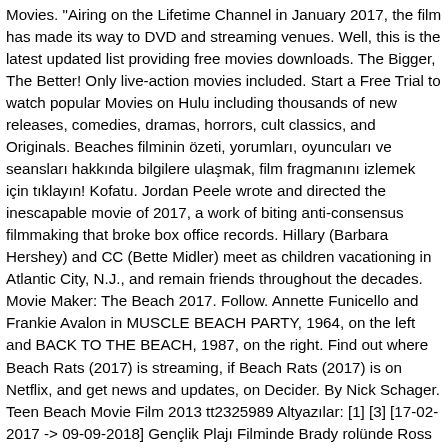Movies. "Airing on the Lifetime Channel in January 2017, the film has made its way to DVD and streaming venues. Well, this is the latest updated list providing free movies downloads. The Bigger, The Better! Only live-action movies included. Start a Free Trial to watch popular Movies on Hulu including thousands of new releases, comedies, dramas, horrors, cult classics, and Originals. Beaches filminin özeti, yorumları, oyuncuları ve seansları hakkında bilgilere ulaşmak, film fragmanını izlemek için tıklayın! Kofatu. Jordan Peele wrote and directed the inescapable movie of 2017, a work of biting anti-consensus filmmaking that broke box office records. Hillary (Barbara Hershey) and CC (Bette Midler) meet as children vacationing in Atlantic City, N.J., and remain friends throughout the decades. Movie Maker: The Beach 2017. Follow. Annette Funicello and Frankie Avalon in MUSCLE BEACH PARTY, 1964, on the left and BACK TO THE BEACH, 1987, on the right. Find out where Beach Rats (2017) is streaming, if Beach Rats (2017) is on Netflix, and get news and updates, on Decider. By Nick Schager. Teen Beach Movie Film 2013 tt2325989 Altyazılar: [1] [3] [17-02-2017 -> 09-09-2018] Gençlik Plajı Filminde Brady rolünde Ross Lynch (Austin&Ally) ve McKenzie rolünde Disney Channel'a yeni gelen Maia Mitchell oynuyorlar. Ok, so we'll admit that this 2011 dramedy isn't the most uplifting of beach-y movies—but it's a touching story and has gorgeousHawaiian scenes. Save this story for later. Tweeter. On Chesil Beach is a 2017 British drama film directed by Dominic Cooke (in his feature directorial debut) and written by Ian McEwan, who adapted his own 2007